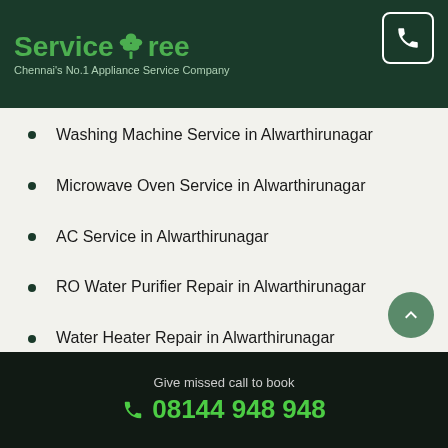ServiceTree — Chennai's No.1 Appliance Service Company
Service in Alwarthirunagar
Washing Machine Service in Alwarthirunagar
Microwave Oven Service in Alwarthirunagar
AC Service in Alwarthirunagar
RO Water Purifier Repair in Alwarthirunagar
Water Heater Repair in Alwarthirunagar
TV Service in Alwarthirunagar
Hob Service in Alwarthirunagar
RO Water Purifier Cleaning in Alwarthirunagar
Give missed call to book
08144 948 948